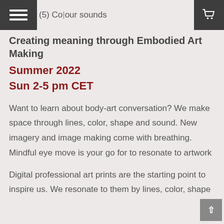(5) Colour sounds
Creating meaning through Embodied Art Making
Summer 2022
Sun 2-5 pm CET
Want to learn about body-art conversation? We make space through lines, color, shape and sound. New imagery and image making come with breathing. Mindful eye move is your go for to resonate to artwork
Digital professional art prints are the starting point to inspire us. We resonate to them by lines, color, shape